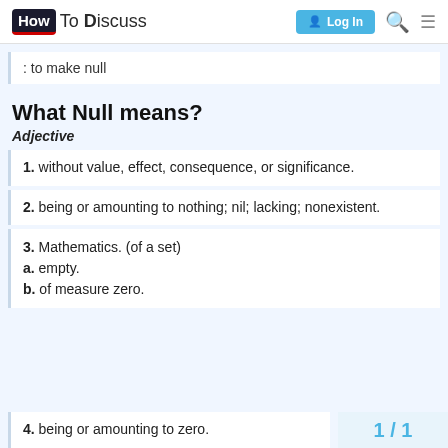HowToDiscuss — Log In
: to make null
What Null means?
Adjective
1. without value, effect, consequence, or significance.
2. being or amounting to nothing; nil; lacking; nonexistent.
3. Mathematics. (of a set)
a. empty.
b. of measure zero.
4. being or amounting to zero.
1 / 1